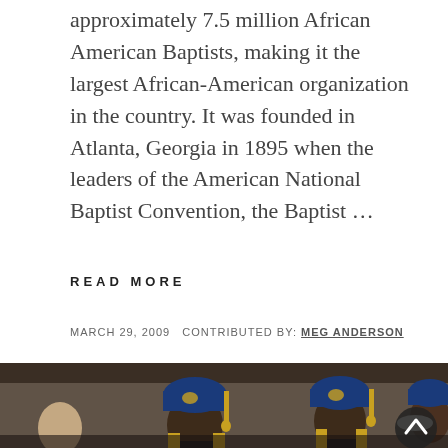incorporated (NBCUSA), is made up of approximately 7.5 million African American Baptists, making it the largest African-American organization in the country. It was founded in Atlanta, Georgia in 1895 when the leaders of the American National Baptist Convention, the Baptist ...
READ MORE
MARCH 29, 2009  CONTRIBUTED BY: MEG ANDERSON
[Figure (photo): Group of African American men wearing blue and gold ceremonial caps and sashes/stoles, standing in a formal gathering or ceremony. The caps have 'S.P.C.' insignia.]